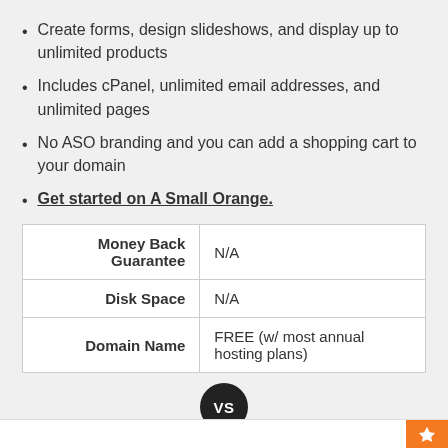Create forms, design slideshows, and display up to unlimited products
Includes cPanel, unlimited email addresses, and unlimited pages
No ASO branding and you can add a shopping cart to your domain
Get started on A Small Orange.
| Money Back Guarantee | N/A |
| Disk Space | N/A |
| Domain Name | FREE (w/ most annual hosting plans) |
VS